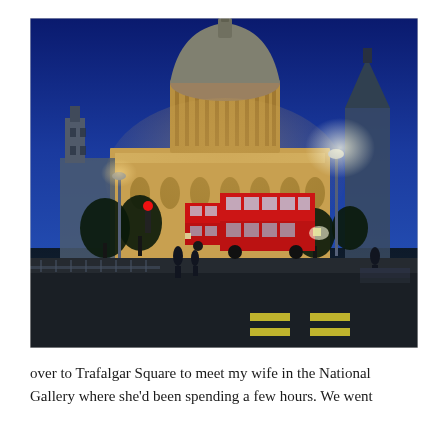[Figure (photo): Nighttime photo of St Paul's Cathedral in London illuminated against a deep blue sky. Red double-decker buses and traffic are visible on the street in front of the cathedral. Street lights glow brightly. Trees are silhouetted in the foreground.]
over to Trafalgar Square to meet my wife in the National Gallery where she'd been spending a few hours. We went